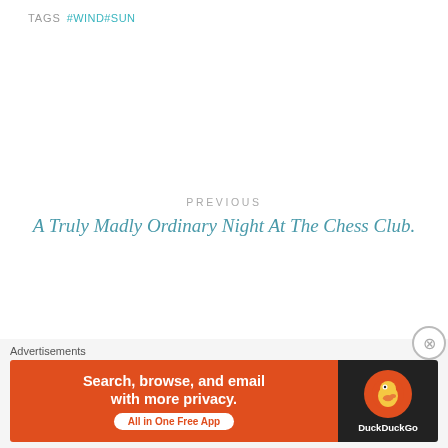TAGS #WIND#SUN
PREVIOUS
A Truly Madly Ordinary Night At The Chess Club.
NEXT
Nothing is like the first time.........
Advertisements
[Figure (other): DuckDuckGo advertisement banner: orange background with text 'Search, browse, and email with more privacy. All in One Free App' on the left, DuckDuckGo duck logo on dark background on the right.]